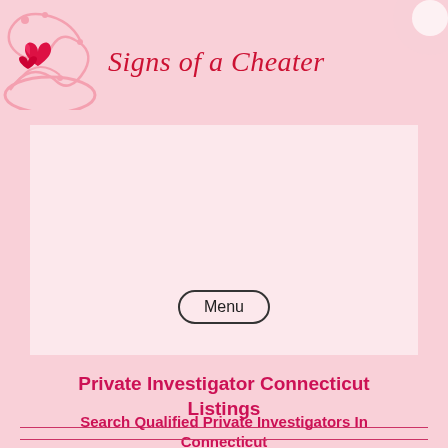[Figure (illustration): Decorative pink floral scrollwork in top-left corner with heart icon]
[Figure (illustration): Decorative circle/floral ornament in top-right corner]
Signs of a Cheater
[Figure (screenshot): Light pink/white content placeholder box with a Menu button]
Private Investigator Connecticut Listings
Search Qualified Private Investigators In Connecticut